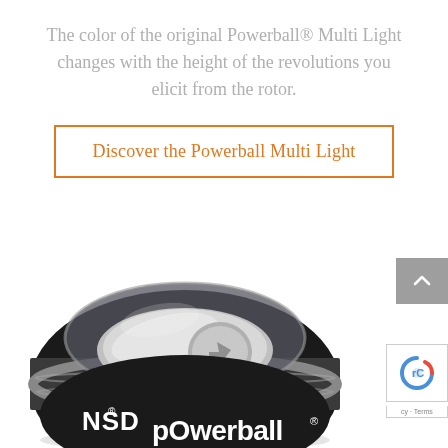The color of the original Powerball® Multi Light changes with the height of the revolutions you elicit from the rotor.
Discover the Powerball Multi Light
[Figure (photo): Black NSD Powerball gyroscopic wrist exerciser with transparent top showing chrome rotor with arrow indicator]